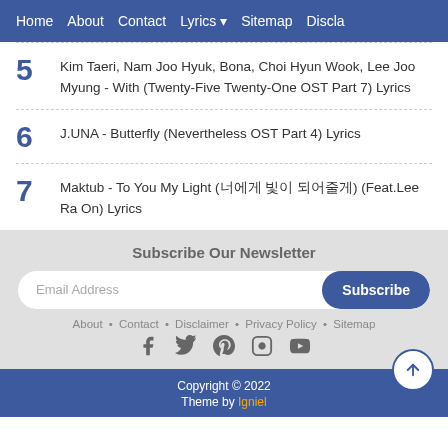Home  About  Contact  Lyrics  Sitemap  Discla
5  Kim Taeri, Nam Joo Hyuk, Bona, Choi Hyun Wook, Lee Joo Myung - With (Twenty-Five Twenty-One OST Part 7) Lyrics
6  J.UNA - Butterfly (Nevertheless OST Part 4) Lyrics
7  Maktub - To You My Light (너에게 빛이 되어줄게) (Feat.Lee Ra On) Lyrics
Subscribe Our Newsletter
Email Address  Subscribe
About • Contact • Disclaimer • Privacy Policy • Sitemap
Copyright © 2022
Theme by Igniel